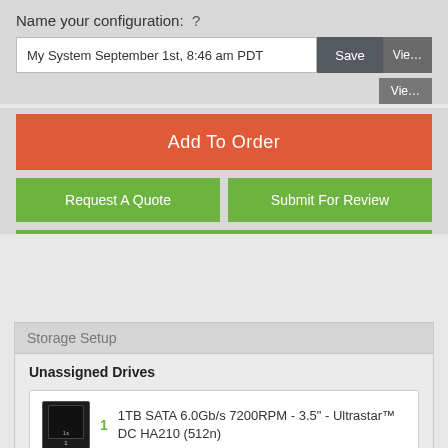Name your configuration:  ?
My System September 1st, 8:46 am PDT
Save
Vie…
Add To Order
Request A Quote
Submit For Review
Storage Setup
Unassigned Drives
1  1TB SATA 6.0Gb/s 7200RPM - 3.5" - Ultrastar™ DC HA210 (512n)
Controllers